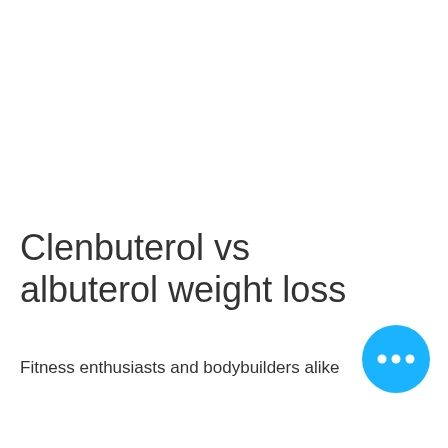Clenbuterol vs albuterol weight loss
Fitness enthusiasts and bodybuilders alike